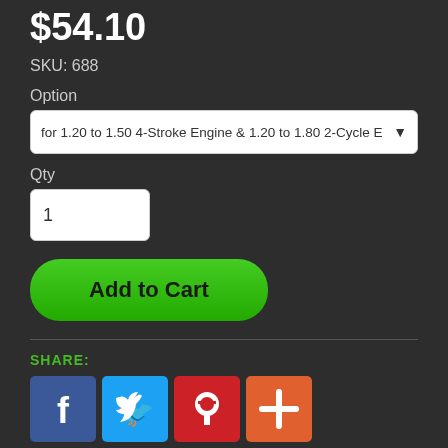$54.10
SKU: 688
Option
for 1.20 to 1.50 4-Stroke Engine & 1.20 to 1.80 2-Cycle E
Qty
1
Add to Cart
SHARE:
[Figure (infographic): Social share icons: Facebook (blue), Twitter (light blue), Pinterest (red), Plus/More (orange)]
International Customers: check here for a distributor in your country DU-BRO International Distributors. If you do not see a distributor in your country, feel free to order here on our